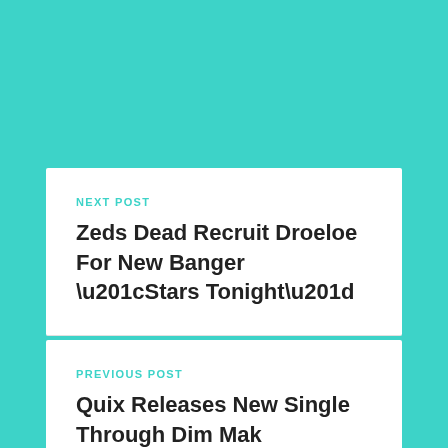NEXT POST
Zeds Dead Recruit Droeloe For New Banger “Stars Tonight”
PREVIOUS POST
Quix Releases New Single Through Dim Mak “Guiding Light” Feat. Sanna Martinez